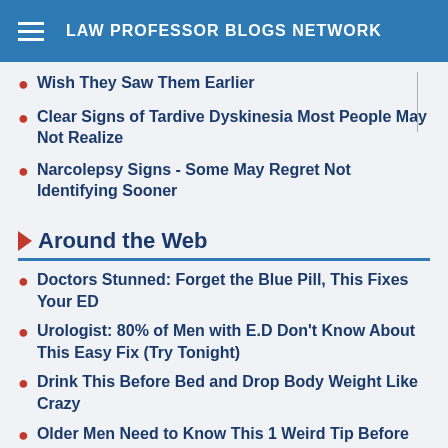LAW PROFESSOR BLOGS NETWORK
Wish They Saw Them Earlier
Clear Signs of Tardive Dyskinesia Most People May Not Realize
Narcolepsy Signs - Some May Regret Not Identifying Sooner
Around the Web
Doctors Stunned: Forget the Blue Pill, This Fixes Your ED
Urologist: 80% of Men with E.D Don't Know About This Easy Fix (Try Tonight)
Drink This Before Bed and Drop Body Weight Like Crazy
Older Men Need to Know This 1 Weird Tip Before It's Too Late
Doctor Stunned: This Restore Vision Naturally